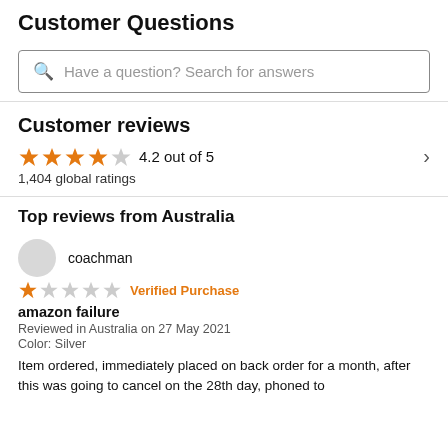Customer Questions
Have a question? Search for answers
Customer reviews
4.2 out of 5
1,404 global ratings
Top reviews from Australia
coachman
Verified Purchase
amazon failure
Reviewed in Australia on 27 May 2021
Color: Silver
Item ordered, immediately placed on back order for a month, after this was going to cancel on the 28th day, phoned to